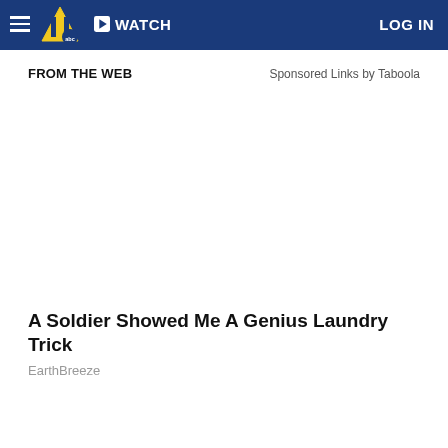WATCH  LOG IN
FROM THE WEB
Sponsored Links by Taboola
[Figure (photo): Blank/white image placeholder for sponsored content]
A Soldier Showed Me A Genius Laundry Trick
EarthBreeze